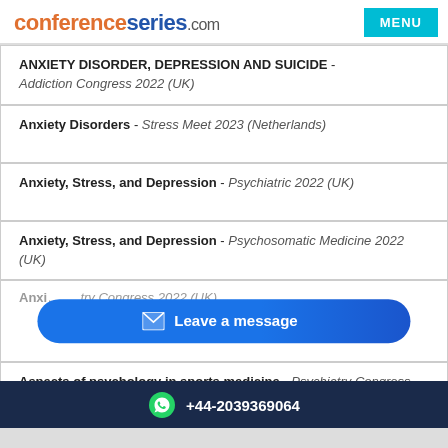conferenceseries.com | MENU
ANXIETY DISORDER, DEPRESSION AND SUICIDE - Addiction Congress 2022 (UK)
Anxiety Disorders - Stress Meet 2023 (Netherlands)
Anxiety, Stress, and Depression - Psychiatric 2022 (UK)
Anxiety, Stress, and Depression - Psychosomatic Medicine 2022 (UK)
Anxi... - ...try Congress 2022 (UK)
Aspects of psychology in sports medicine - Psychiatry Congress 2022 (UK)
+44-2039369064